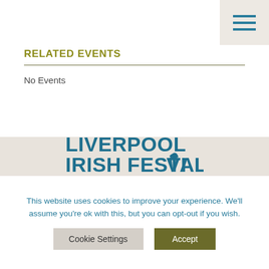[Figure (other): Hamburger menu icon with three teal horizontal lines on a beige/cream background]
RELATED EVENTS
No Events
[Figure (logo): Liverpool Irish Festival logo with stylized shamrock/harp symbol in teal on beige background]
This website uses cookies to improve your experience. We'll assume you're ok with this, but you can opt-out if you wish.